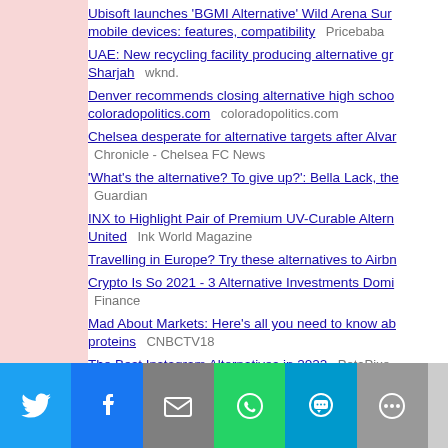Ubisoft launches 'BGMI Alternative' Wild Arena Sur... mobile devices: features, compatibility  Pricebaba
UAE: New recycling facility producing alternative gr... Sharjah  wknd.
Denver recommends closing alternative high schoo... coloradopolitics.com  coloradopolitics.com
Chelsea desperate for alternative targets after Alvar...  Chronicle - Chelsea FC News
'What's the alternative? To give up?': Bella Lack, the...  Guardian
INX to Highlight Pair of Premium UV-Curable Altern... United  Ink World Magazine
Travelling in Europe? Try these alternatives to Airbn...
Crypto Is So 2021 - 3 Alternative Investments Domi...  Finance
Mad About Markets: Here's all you need to know ab... proteins  CNBCTV18
The Best Instagram Alternatives in 2022  PetaPixe...
Plant-based milk alternatives: New report breaks dc...
[Figure (other): Social sharing bar with Twitter, Facebook, Email, WhatsApp, SMS, More buttons]